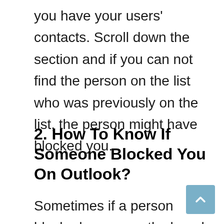you have your users' contacts. Scroll down the section and if you can not find the person on the list who was previously on the list, the person might have blocked you.
2. How To Know If Someone Blocked You On Outlook?
Sometimes if a person blocked you on outlook and you don't even have any idea about that, and if you think that